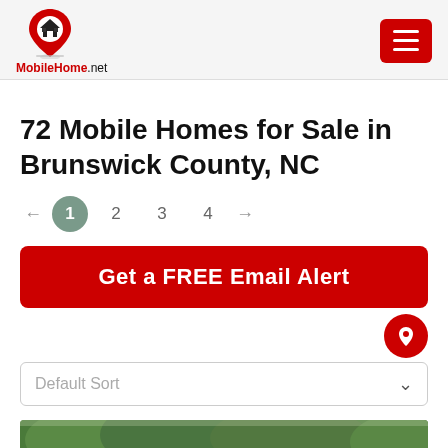MobileHome.net
72 Mobile Homes for Sale in Brunswick County, NC
← 1 2 3 4 →
Get a FREE Email Alert
Default Sort
[Figure (photo): Exterior photo of a mobile home with green trees in background, roof visible at bottom]